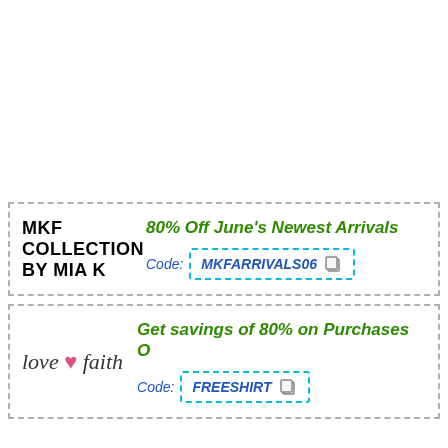MKF COLLECTION BY MIA K
80% Off June's Newest Arrivals
Code: MKFARRIVALS06
[Figure (logo): Love & Faith logo in italic script with pink heart]
Get savings of 80% on Purchases O
Code: FREESHIRT